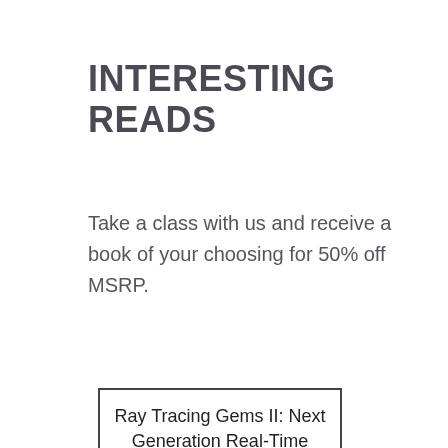INTERESTING READS
Take a class with us and receive a book of your choosing for 50% off MSRP.
Ray Tracing Gems II: Next Generation Real-Time Rendering with Dxr, Vulkan, and